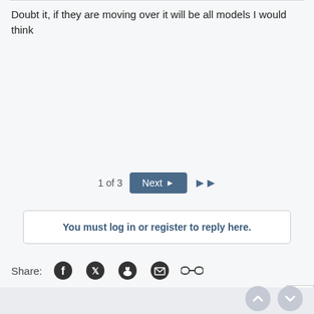Doubt it, if they are moving over it will be all models I would think
1 of 3  Next  ▶▶
You must log in or register to reply here.
Share:
< iPhone